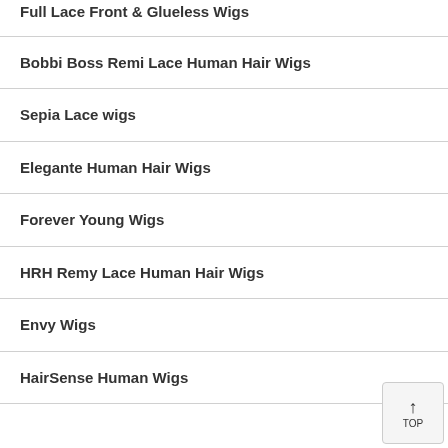Full Lace Front & Glueless Wigs
Bobbi Boss Remi Lace Human Hair Wigs
Sepia Lace wigs
Elegante Human Hair Wigs
Forever Young Wigs
HRH Remy Lace Human Hair Wigs
Envy Wigs
HairSense Human Wigs